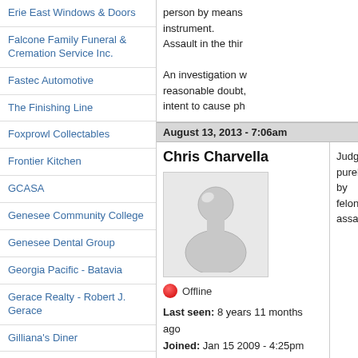Erie East Windows & Doors
Falcone Family Funeral & Cremation Service Inc.
Fastec Automotive
The Finishing Line
Foxprowl Collectables
Frontier Kitchen
GCASA
Genesee Community College
Genesee Dental Group
Georgia Pacific - Batavia
Gerace Realty - Robert J. Gerace
Gilliana's Diner
Gilmartin Funeral Home & Cremation Company, Inc.
GLOW Corporate Cup
Godfrey's Pond
Hair Studio 25
person by means instrument. Assault in the thir An investigation w reasonable doubt, intent to cause ph
August 13, 2013 - 7:06am
Chris Charvella
[Figure (illustration): Default user avatar placeholder - grey chess pawn shape on light grey background]
Offline
Last seen: 8 years 11 months ago
Joined: Jan 15 2009 - 4:25pm
Judging purely by felony assault.